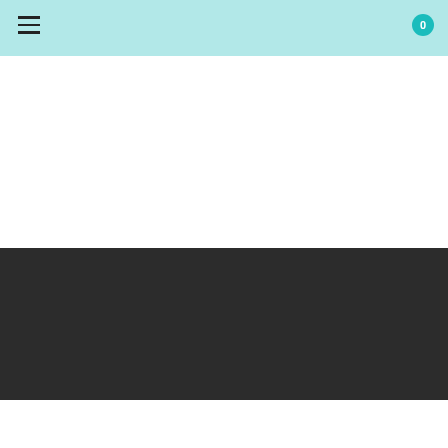Navigation header with hamburger menu and cart badge showing 0
© 2016 to 2022- All rights reserved to Danni in the Desert
Privacy Policy - Disclosure - Delivery & Returns
BACK TO TOP
[Figure (screenshot): Advertisement banner: Recruitment Trends Report with Open button]